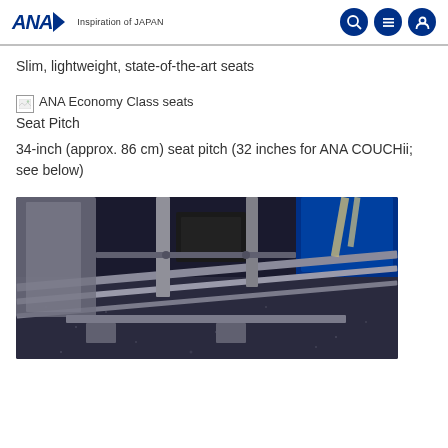ANA Inspiration of JAPAN
Slim, lightweight, state-of-the-art seats
[Figure (photo): Broken image placeholder for ANA Economy Class seats]
Seat Pitch
34-inch (approx. 86 cm) seat pitch (32 inches for ANA COUCHii; see below)
[Figure (photo): Close-up photo of ANA economy class slim seat undercarriage showing metal rails, seat mechanism, and blue upholstery on dark speckled floor]